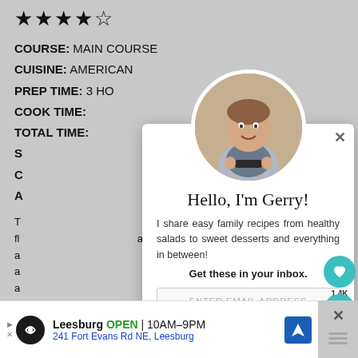★★★★☆
COURSE: MAIN COURSE
CUISINE: AMERICAN
PREP TIME: 3 HO[urs]
COOK TIME:
TOTAL TIME: [  ] MINUTES
S[ervings]:
C[alories]:
A[uthor]:
T[his recipe...] fla[vor...] allot [  ] ers a a a
[Figure (screenshot): Popup modal showing chef photo (circular avatar of a man in apron in kitchen), greeting 'Hello, I'm Gerry!' with text 'I share easy family recipes from healthy salads to sweet desserts and everything in between!' and 'Get these in your inbox.' with email input field 'ENTER EMAIL ADDRESS'. Close X button top right.]
WHAT'S NEXT → citrus marinated...
Leesburg  OPEN  10AM–9PM
241 Fort Evans Rd NE, Leesburg